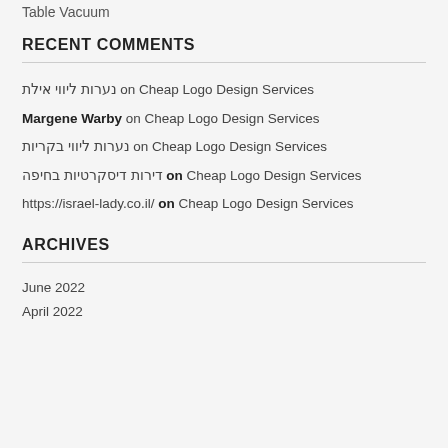Table Vacuum
RECENT COMMENTS
נערות ליווי אילת on Cheap Logo Design Services
Margene Warby on Cheap Logo Design Services
נערות ליווי בקריות on Cheap Logo Design Services
דירות דיסקרטיות בחיפה on Cheap Logo Design Services
https://israel-lady.co.il/ on Cheap Logo Design Services
ARCHIVES
June 2022
April 2022